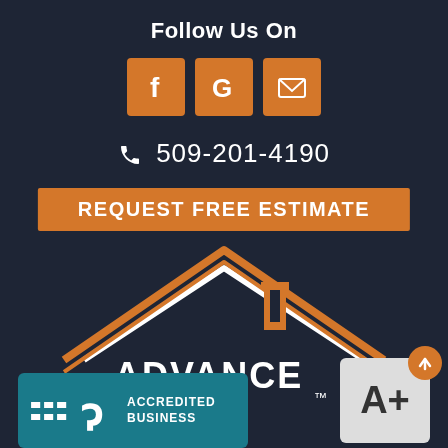Follow Us On
[Figure (logo): Three social media icons: Facebook (f), Google (G), and Email (envelope) on orange square backgrounds]
509-201-4190
REQUEST FREE ESTIMATE
[Figure (logo): Advance Roofing logo with orange and white house roof outline graphic and text 'ADVANCE Roofing' with trademark symbol on dark blue background]
[Figure (logo): BBB Accredited Business badge on teal/dark cyan background with white BBB symbol and text 'ACCREDITED BUSINESS']
[Figure (logo): A+ rating badge on light gray background with orange circular arrow badge in top right corner]